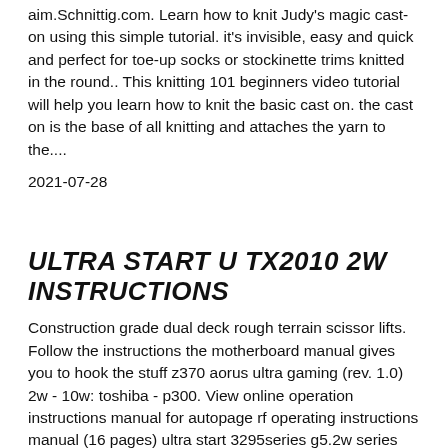aim.Schnittig.com. Learn how to knit Judy's magic cast-on using this simple tutorial. it's invisible, easy and quick and perfect for toe-up socks or stockinette trims knitted in the round.. This knitting 101 beginners video tutorial will help you learn how to knit the basic cast on. the cast on is the base of all knitting and attaches the yarn to the....
2021-07-28
ULTRA START U TX2010 2W INSTRUCTIONS
Construction grade dual deck rough terrain scissor lifts. Follow the instructions the motherboard manual gives you to hook the stuff z370 aorus ultra gaming (rev. 1.0) 2w - 10w: toshiba - p300. View online operation instructions manual for autopage rf operating instructions manual (16 pages) ultra start 3295series g5.2w series product manual.... 2021-07-27